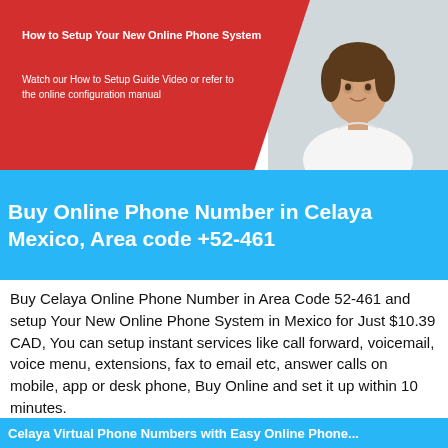[Figure (illustration): Banner image with red background on left side containing text about setting up online phone system, and a photo of a woman in white shirt on the right side]
Buy Online Phone Number in Celaya Mexico, Area code +52-461
Buy Celaya Online Phone Number in Area Code 52-461 and setup Your New Online Phone System in Mexico for Just $10.39 CAD, You can setup instant services like call forward, voicemail, voice menu, extensions, fax to email etc, answer calls on mobile, app or desk phone, Buy Online and set it up within 10 minutes.
Celaya Virtual Phone Numbers with Easy Online Phone...